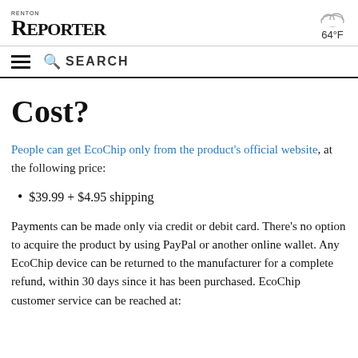RENTON REPORTER  64°F
Cost?
People can get EcoChip only from the product's official website, at the following price:
$39.99 + $4.95 shipping
Payments can be made only via credit or debit card. There's no option to acquire the product by using PayPal or another online wallet. Any EcoChip device can be returned to the manufacturer for a complete refund, within 30 days since it has been purchased. EcoChip customer service can be reached at: